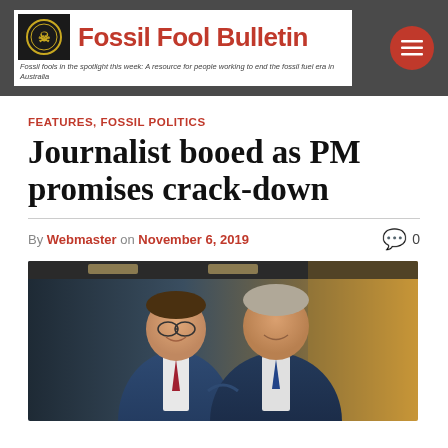Fossil Fool Bulletin — Fossil fools in the spotlight this week: A resource for people working to end the fossil fuel era in Australia
FEATURES, FOSSIL POLITICS
Journalist booed as PM promises crack-down
By Webmaster on November 6, 2019   0
[Figure (photo): Two men in suits smiling, standing together in what appears to be a hallway or corridor with warm lighting]